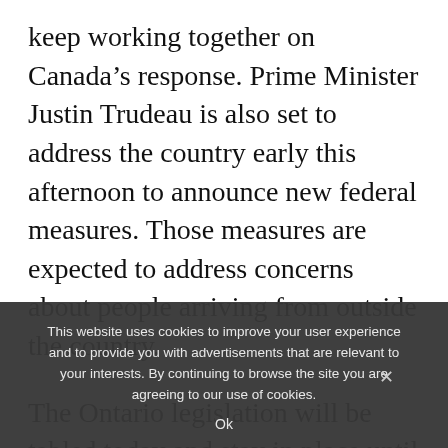keep working together on Canada's response. Prime Minister Justin Trudeau is also set to address the country early this afternoon to announce new federal measures. Those measures are expected to address concerns about people arriving from outside the country.
The Ontario legislation will be tabled today and stay in place until the outbreak has been
This website uses cookies to improve your user experience and to provide you with advertisements that are relevant to your interests. By continuing to browse the site you are agreeing to our use of cookies.
Ok